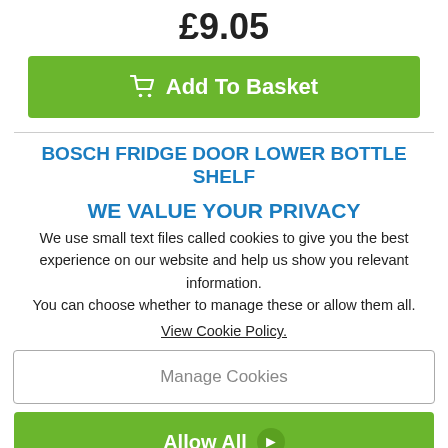£9.05
Add To Basket
BOSCH FRIDGE DOOR LOWER BOTTLE SHELF
WE VALUE YOUR PRIVACY
We use small text files called cookies to give you the best experience on our website and help us show you relevant information.
You can choose whether to manage these or allow them all.
View Cookie Policy.
Manage Cookies
Allow All